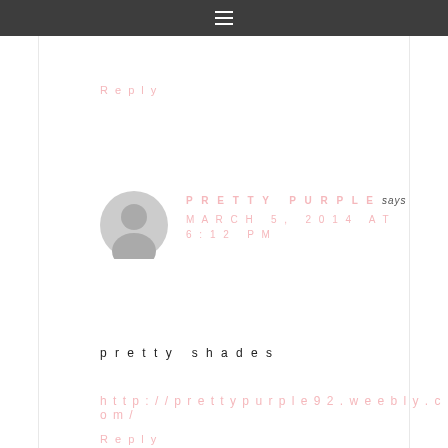≡
Reply
PRETTY PURPLE says
MARCH 5, 2014 AT 6:12 PM
pretty shades
http://prettypurple92.weebly.com/
Reply